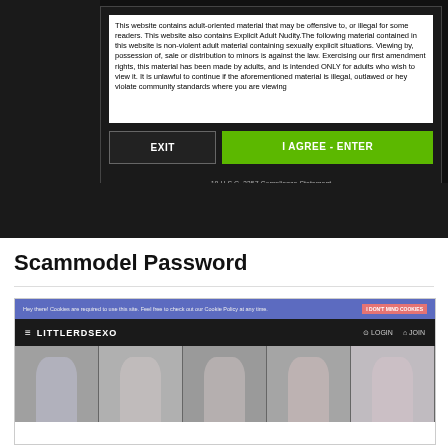[Figure (screenshot): Adult website age verification modal dialog with EXIT button and green I AGREE - ENTER button, on dark background. Modal contains warning text about adult content. Bottom shows 18 U.S.C. 2257 Compliance Statement and Webmasters links.]
Scammodel Password
[Figure (screenshot): LITTLERDSEXO website screenshot showing blue cookie consent bar at top, dark navigation bar with site logo LITTLERDSEXO, LOGIN and JOIN links, and a strip of model photos at the bottom.]